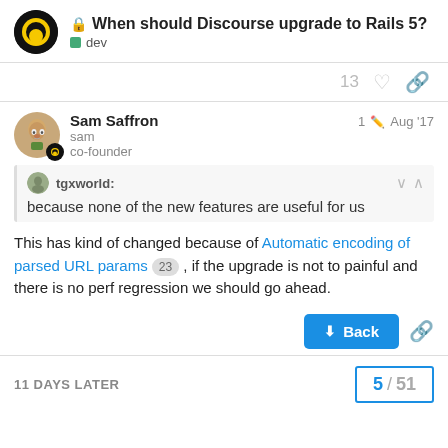When should Discourse upgrade to Rails 5? | dev
13
Sam Saffron sam co-founder — 1 edit — Aug '17
tgxworld: because none of the new features are useful for us
This has kind of changed because of Automatic encoding of parsed URL params 23 , if the upgrade is not to painful and there is no perf regression we should go ahead.
Back
11 DAYS LATER
5 / 51